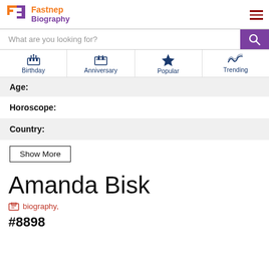Fastnep Biography
What are you looking for?
Birthday | Anniversary | Popular | Trending
Age:
Horoscope:
Country:
Show More
Amanda Bisk
biography,
#8898